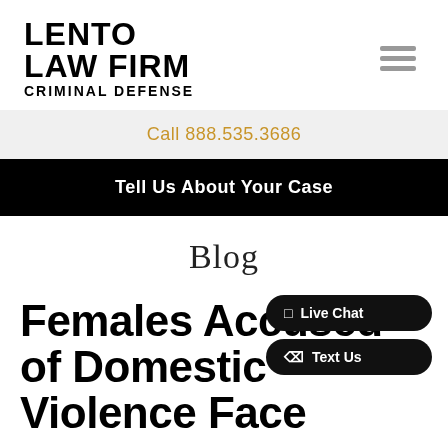[Figure (logo): Lento Law Firm Criminal Defense logo — bold black text stacked: LENTO / LAW FIRM / CRIMINAL DEFENSE]
Call 888.535.3686
Tell Us About Your Case
Blog
Live Chat
Text Us
Females Accused of Domestic Violence Face